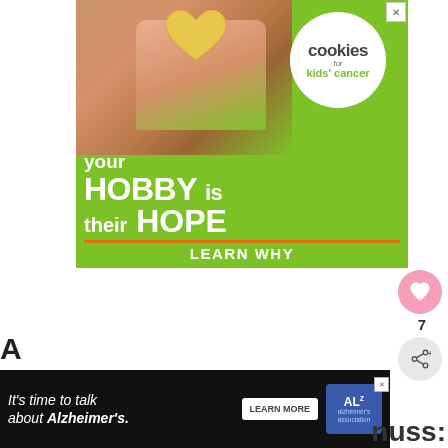[Figure (illustration): Advertisement banner for cookies for kids cancer. Green background with hands holding a heart-shaped cookie. White circle logo reads 'cookies for kids cancer'. Text reads: 'your HOBBY is their HOPE — LEARN WHY']
[Figure (illustration): Heart/like icon button showing count 7 and share icon on right side]
[Figure (illustration): What's next panel with thumbnail and text 'How Can I Make Money...']
[Figure (illustration): Bottom banner advertisement: It's time to talk about Alzheimer's. LEARN MORE. Alzheimer's association logo.]